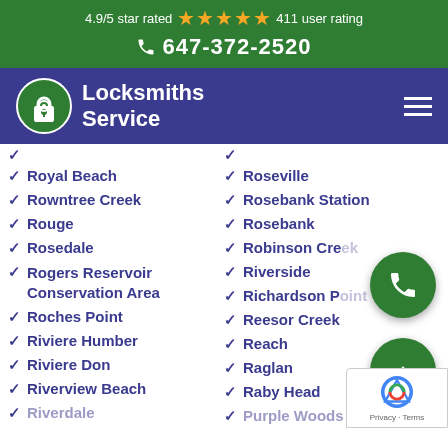4.9/5 star rated ★★★★★ 411 user rating
☎ 647-372-2520
[Figure (logo): Locksmiths Service logo with padlock icon on dark blue nav bar]
Royal Beach
Roseville
Rowntree Creek
Rosebank Station
Rouge
Rosebank
Rosedale
Robinson Creek
Rogers Reservoir Conservation Area
Riverside
Richardson Point
Roches Point
Reesor Creek
Riviere Humber
Reach
Riviere Don
Raglan
Riverview Beach
Raby Head
Riverdale
Purple Woods